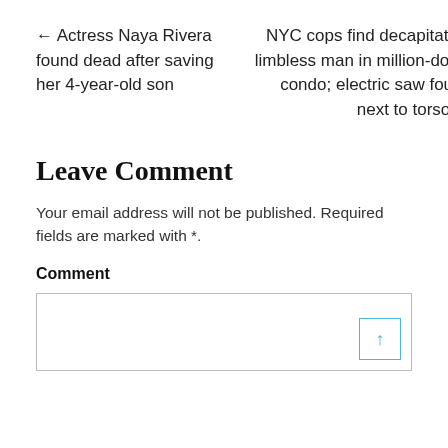← Actress Naya Rivera found dead after saving her 4-year-old son
NYC cops find decapitated, limbless man in million-dollar condo; electric saw found next to torso →
Leave Comment
Your email address will not be published. Required fields are marked with *.
Comment